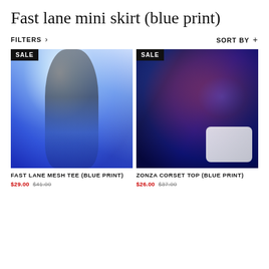Fast lane mini skirt (blue print)
FILTERS › SORT BY +
[Figure (photo): Model wearing blue print mesh tee and mini skirt, posed against a light blue wall, wearing white sunglasses. SALE badge in top left corner.]
FAST LANE MESH TEE (BLUE PRINT)
$29.00 $41.00
[Figure (photo): Close-up of a model wearing a blue print corset top and mini skirt, holding a white handbag. SALE badge in top left corner.]
ZONZA CORSET TOP (BLUE PRINT)
$26.00 $37.00